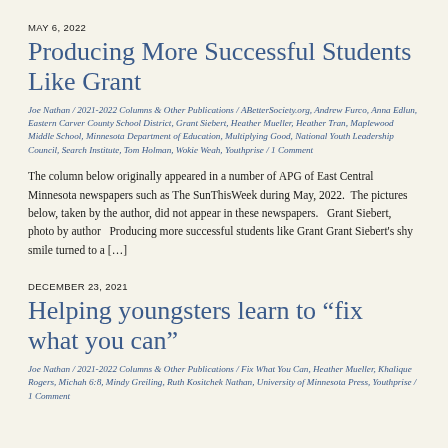MAY 6, 2022
Producing More Successful Students Like Grant
Joe Nathan / 2021-2022 Columns & Other Publications / ABetterSociety.org, Andrew Furco, Anna Edlun, Eastern Carver County School District, Grant Siebert, Heather Mueller, Heather Tran, Maplewood Middle School, Minnesota Department of Education, Multiplying Good, National Youth Leadership Council, Search Institute, Tom Holman, Wokie Weah, Youthprise / 1 Comment
The column below originally appeared in a number of APG of East Central Minnesota newspapers such as The SunThisWeek during May, 2022.  The pictures  below, taken by the author, did not appear in these newspapers.   Grant Siebert, photo by author   Producing more successful students like Grant Grant Siebert’s shy smile turned to a […]
DECEMBER 23, 2021
Helping youngsters learn to “fix what you can”
Joe Nathan / 2021-2022 Columns & Other Publications / Fix What You Can, Heather Mueller, Khalique Rogers, Michah 6:8, Mindy Greiling, Ruth Kositchek Nathan, University of Minnesota Press, Youthprise / 1 Comment